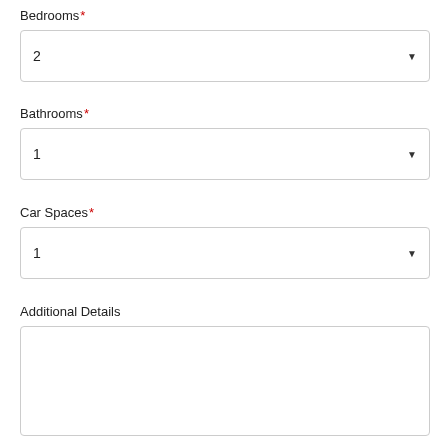Bedrooms *
2
Bathrooms *
1
Car Spaces *
1
Additional Details